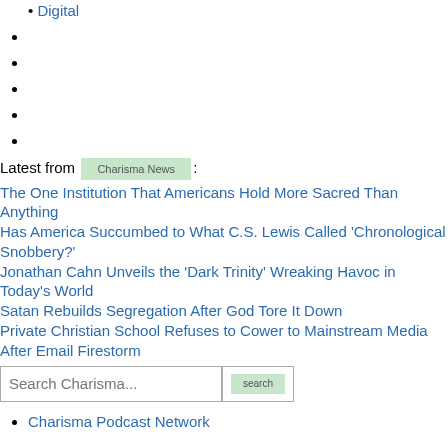Digital
Latest from Charisma News:
The One Institution That Americans Hold More Sacred Than Anything
Has America Succumbed to What C.S. Lewis Called 'Chronological Snobbery?'
Jonathan Cahn Unveils the 'Dark Trinity' Wreaking Havoc in Today's World
Satan Rebuilds Segregation After God Tore It Down
Private Christian School Refuses to Cower to Mainstream Media After Email Firestorm
Charisma Podcast Network
Charisma Caucus
MEV Bible
Charisma News
New Man